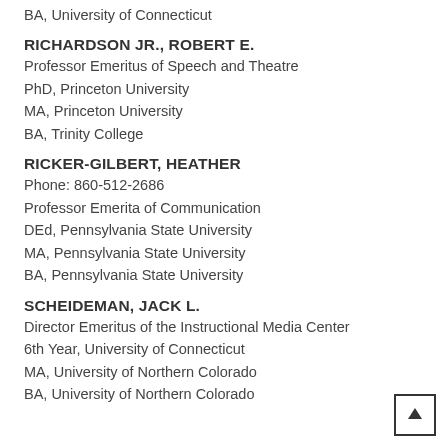BA, University of Connecticut
RICHARDSON JR., ROBERT E.
Professor Emeritus of Speech and Theatre
PhD, Princeton University
MA, Princeton University
BA, Trinity College
RICKER-GILBERT, HEATHER
Phone: 860-512-2686
Professor Emerita of Communication
DEd, Pennsylvania State University
MA, Pennsylvania State University
BA, Pennsylvania State University
SCHEIDEMAN, JACK L.
Director Emeritus of the Instructional Media Center
6th Year, University of Connecticut
MA, University of Northern Colorado
BA, University of Northern Colorado